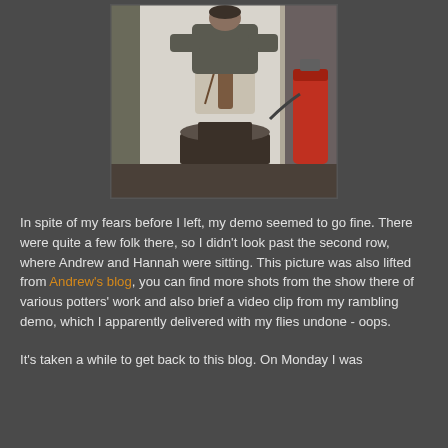[Figure (photo): A person standing at a pottery wheel working on a large ceramic vase/vessel in what appears to be a tent or marquee setting. A red gas canister is visible to the right.]
In spite of my fears before I left, my demo seemed to go fine. There were quite a few folk there, so I didn't look past the second row, where Andrew and Hannah were sitting. This picture was also lifted from Andrew's blog, you can find more shots from the show there of various potters' work and also brief a video clip from my rambling demo, which I apparently delivered with my flies undone - oops.
It's taken a while to get back to this blog. On Monday I was